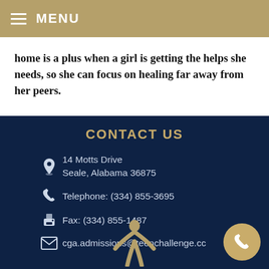MENU
home is a plus when a girl is getting the helps she needs, so she can focus on healing far away from her peers.
CONTACT US
14 Motts Drive
Seale, Alabama 36875
Telephone: (334) 855-3695
Fax: (334) 855-1487
cga.admissions@teenchallenge.cc
[Figure (illustration): Person figure silhouette in tan/gold color at the bottom of the footer]